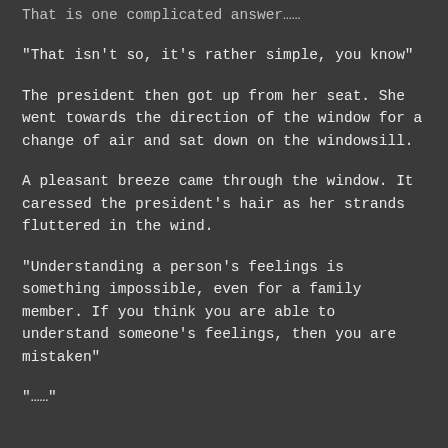That is one complicated answer……
“That isn’t so, it’s rather simple, you know”
The president then got up from her seat. She went towards the direction of the window for a change of air and sat down on the windowsill.
A pleasant breeze came through the window. It caressed the president’s hair as her strands fluttered in the wind.
“Understanding a person’s feelings is something impossible, even for a family member. If you think you are able to understand someone’s feelings, then you are mistaken”
“……”